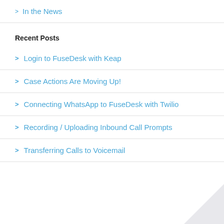> In the News
Recent Posts
> Login to FuseDesk with Keap
> Case Actions Are Moving Up!
> Connecting WhatsApp to FuseDesk with Twilio
> Recording / Uploading Inbound Call Prompts
> Transferring Calls to Voicemail